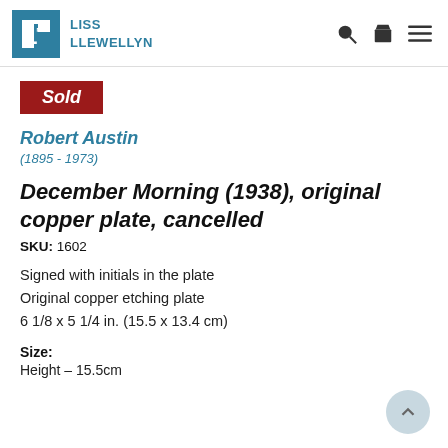LISS LLEWELLYN
Sold
Robert Austin
(1895 - 1973)
December Morning (1938), original copper plate, cancelled
SKU: 1602
Signed with initials in the plate
Original copper etching plate
6 1/8 x 5 1/4 in. (15.5 x 13.4 cm)
Size:
Height – 15.5cm